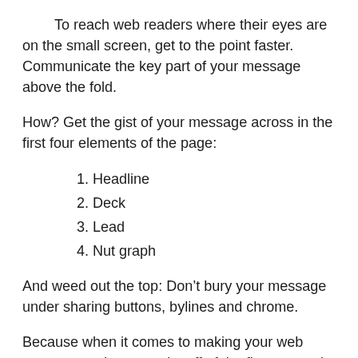To reach web readers where their eyes are on the small screen, get to the point faster. Communicate the key part of your message above the fold.
How? Get the gist of your message across in the first four elements of the page:
1. Headline
2. Deck
3. Lead
4. Nut graph
And weed out the top: Don’t bury your message under sharing buttons, bylines and chrome.
Because when it comes to making your web page tops, what you take off of the first screen is as important as what you put in.